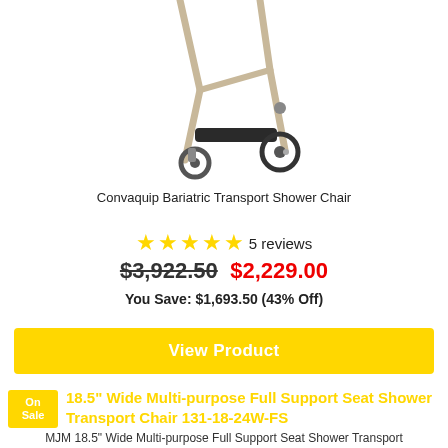[Figure (photo): Photo of Convaquip Bariatric Transport Shower Chair showing wheels and footrest, partially cropped at top]
Convaquip Bariatric Transport Shower Chair
★★★★★ 5 reviews
$3,922.50  $2,229.00
You Save: $1,693.50 (43% Off)
View Product
On Sale  18.5" Wide Multi-purpose Full Support Seat Shower Transport Chair 131-18-24W-FS
MJM 18.5" Wide Multi-purpose Full Support Seat Shower Transport Chair 131-18-24W-FS